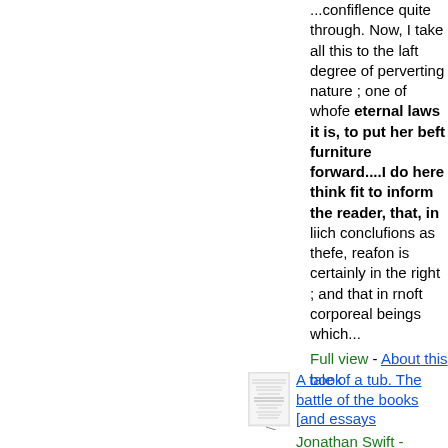...confiflence quite through. Now, I take all this to the laft degree of perverting nature ; one of whofe eternal laws it is, to put her beft furniture forward....I do here think fit to inform the reader, that, in liich conclufions as thefe, reafon is certainly in the right ; and that in rnoft corporeal beings which...
Full view - About this book
[Figure (illustration): Small thumbnail image of a book cover page]
A tale of a tub. The battle of the books [and essays
Jonathan Swift -